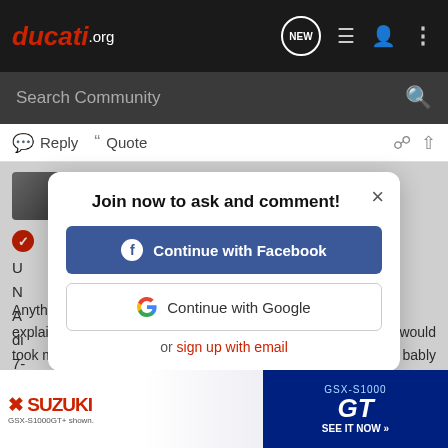ducati.org — navigation bar with NEW, list, user, and menu icons
Search Community
Reply  Quote
Dragon Tamer · Registered 🇦🇺
Join now to ask and comment!
Continue with Facebook
Continue with Google
or sign up with email
U
N
A
di
7-
Anything
explain
took me
[Figure (screenshot): Suzuki GSX-S1000 GT advertisement banner at the bottom of the page]